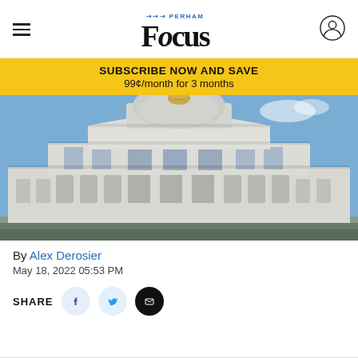Perham Focus
SUBSCRIBE NOW AND SAVE
99¢/month for 3 months
[Figure (photo): Minnesota State Capitol building exterior, showing the white dome with a golden sculpture on top, classical architecture with arched windows and columns, blue sky background.]
By Alex Derosier
May 18, 2022 05:53 PM
SHARE